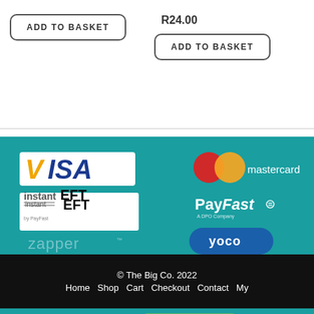[Figure (other): ADD TO BASKET button (left, outlined rounded rectangle)]
R24.00
[Figure (other): ADD TO BASKET button (right, outlined rounded rectangle)]
[Figure (other): Payment provider logos on teal background: VISA, instantEFT by PayFast, zapper, mastercard, PayFast A DPO Company, yoco]
© The Big Co. 2022
Home  Shop  Cart  Checkout  Contact  My
0 🛒 | R0.00  CHECKOUT →